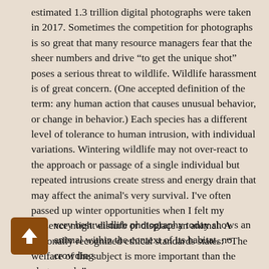estimated 1.3 trillion digital photographs were taken in 2017. Sometimes the competition for photographs is so great that many resource managers fear that the sheer numbers and drive “to get the unique shot” poses a serious threat to wildlife. Wildlife harassment is of great concern. (One accepted definition of the term: any human action that causes unusual behavior, or change in behavior.) Each species has a different level of tolerance to human intrusion, with individual variations. Wintering wildlife may not over-react to the approach or passage of a single individual but repeated intrusions create stress and energy drain that may affect the animal's very survival. I've often passed up winter opportunities when I felt my presence might disturb or displace an animal. A nationally recognized ethical standards states: “The welfare of the subject is more important than the photograph.”
very best wildlife photography today shows an animal within the context of its habitat, no crowding